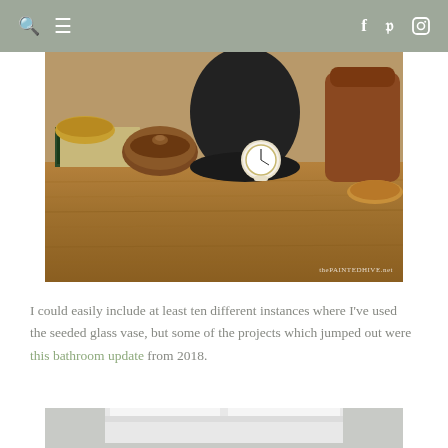navigation bar with search, menu, facebook, pinterest, instagram icons
[Figure (photo): Styled tabletop display with wooden bowls, a matte black vase, a small round clock, and a leather vessel on a wooden surface. Watermark reads thePAINTEDHIVE.net]
I could easily include at least ten different instances where I've used the seeded glass vase, but some of the projects which jumped out were this bathroom update from 2018.
[Figure (photo): Bottom portion of a bathroom photo showing white architectural molding trim, partially cropped]